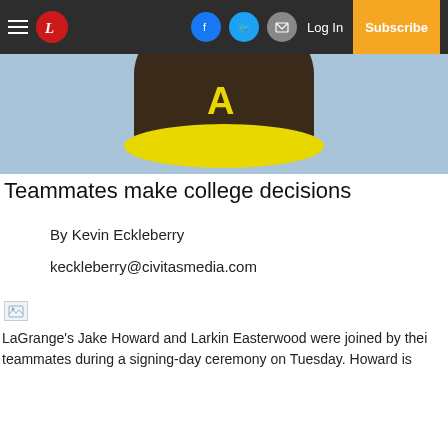Navigation bar with hamburger menu, L logo, Facebook, Twitter, Email icons, Log In, Subscribe
[Figure (photo): Close-up of a brown and yellow baseball cap brim against a light blue background, showing the letter A on the cap]
Teammates make college decisions
By Kevin Eckleberry
keckleberry@civitasmedia.com
[Figure (photo): Broken image placeholder]
LaGrange's Jake Howard and Larkin Easterwood were joined by their teammates during a signing-day ceremony on Tuesday. Howard is